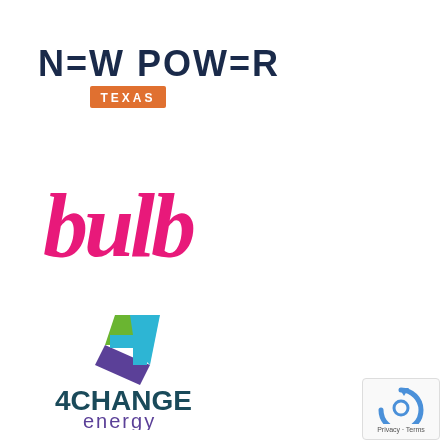[Figure (logo): New Power Texas logo — bold dark navy text 'N=W POW=R' with 'TEXAS' in white on an orange rectangular badge beneath]
[Figure (logo): Bulb energy logo — stylized pink/magenta cursive handwritten text 'bulb']
[Figure (logo): 4Change Energy logo — colorful '4' icon in green, blue, and purple above the text '4CHANGE energy' with '4CHANGE' in dark teal/navy and 'energy' in purple]